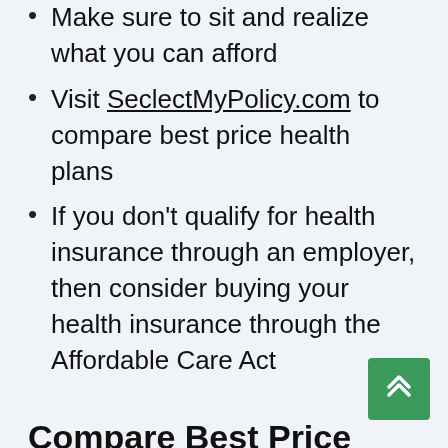Make sure to sit and realize what you can afford
Visit SeclectMyPolicy.com to compare best price health plans
If you don't qualify for health insurance through an employer, then consider buying your health insurance through the Affordable Care Act
Compare Best Price Health Plans!